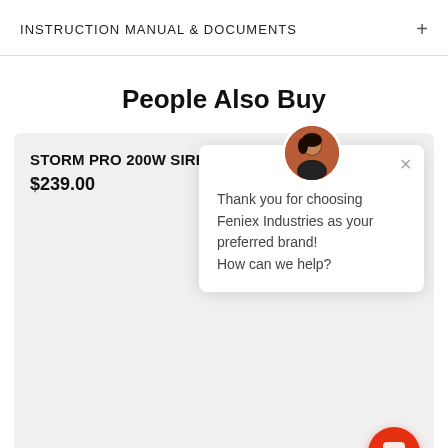INSTRUCTION MANUAL & DOCUMENTS
People Also Buy
STORM PRO 200W SIREN
$239.00
Thank you for choosing Feniex Industries as your preferred brand!
How can we help?